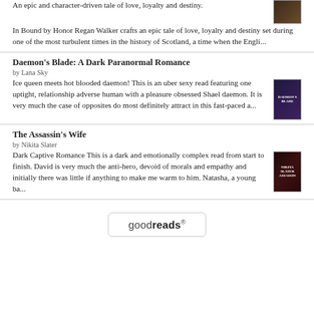An epic and character-driven tale of love, loyalty and destiny. In Bound by Honor Regan Walker crafts an epic tale of love, loyalty and destiny set during one of the most turbulent times in the history of Scotland, a time when the Engli...
Daemon's Blade: A Dark Paranormal Romance
by Lana Sky
Ice queen meets hot blooded daemon! This is an uber sexy read featuring one uptight, relationship adverse human with a pleasure obsessed Shael daemon. It is very much the case of opposites do most definitely attract in this fast-paced a...
The Assassin's Wife
by Nikita Slater
Dark Captive Romance This is a dark and emotionally complex read from start to finish. David is very much the anti-hero, devoid of morals and empathy and initially there was little if anything to make me warm to him. Natasha, a young ba...
[Figure (logo): Goodreads logo button with rounded rectangle border]